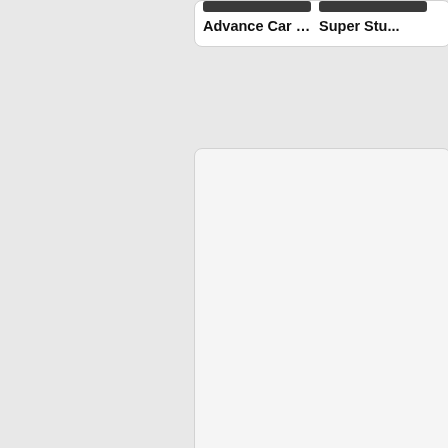Advance Car Parking ...
Super Stu...
[Figure (screenshot): Large empty middle content card area, light gray background]
New Games
[Figure (screenshot): New Games section with two game thumbnails at bottom]